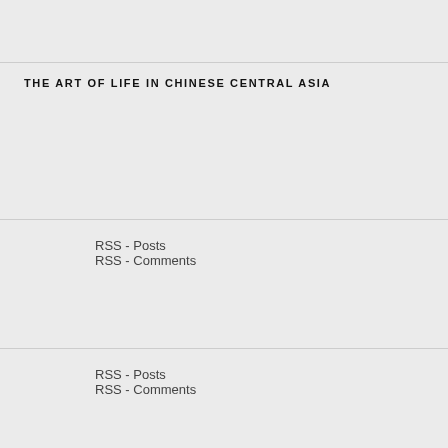THE ART OF LIFE IN CHINESE CENTRAL ASIA
RSS - Posts
RSS - Comments
RSS - Posts
RSS - Comments